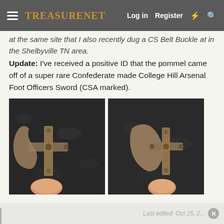TreasureNet  Log in  Register
at the same site that I also recently dug a CS Belt Buckle at in the Shelbyville TN area.
Update: I've received a positive ID that the pommel came off of a super rare Confederate made College Hill Arsenal Foot Officers Sword (CSA marked).
[Figure (photo): Two photos side by side showing an ornate cross-shaped metal artifact (sword pommel) being held by a hand, placed on a dark granite surface alongside a curved artifact piece.]
Last edited: Oct 25, 2...